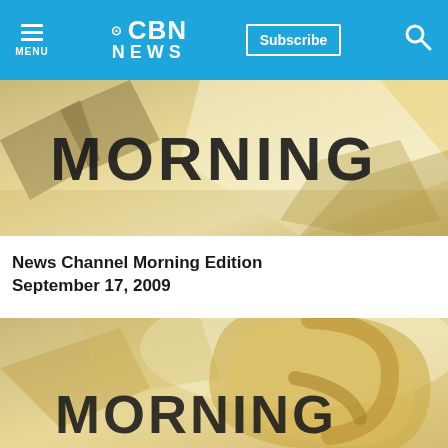CBN NEWS — Menu | Subscribe | Search
[Figure (screenshot): Thumbnail image showing the text MORNING in dark blocky letters on a warm golden/tan background with geometric shapes]
News Channel Morning Edition September 17, 2009
[Figure (screenshot): Second thumbnail image showing the text MORNING in dark blocky letters on a warm golden/tan background with a large circular graphic element above]